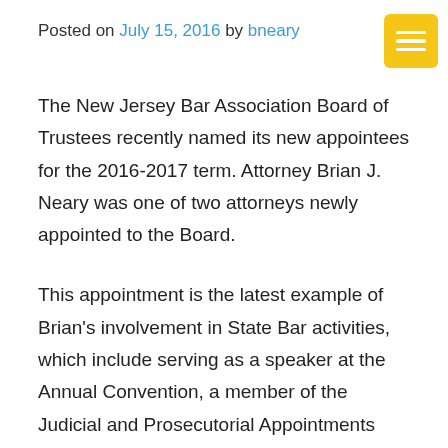Posted on July 15, 2016 by bneary
The New Jersey Bar Association Board of Trustees recently named its new appointees for the 2016-2017 term. Attorney Brian J. Neary was one of two attorneys newly appointed to the Board.
This appointment is the latest example of Brian's involvement in State Bar activities, which include serving as a speaker at the Annual Convention, a member of the Judicial and Prosecutorial Appointments Committee, and the State Bar's representative on the New Jersey Supreme Court's Committee on Judicial Education. He will be eligible to